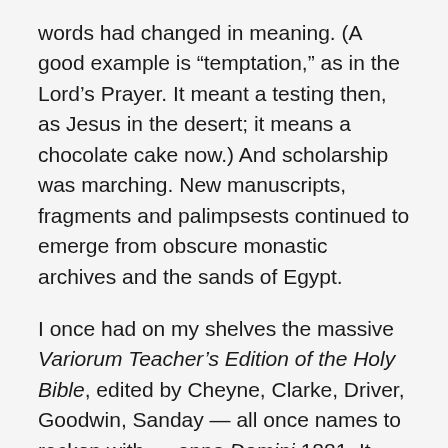words had changed in meaning. (A good example is “temptation,” as in the Lord’s Prayer. It meant a testing then, as Jesus in the desert; it means a chocolate cake now.) And scholarship was marching. New manuscripts, fragments and palimpsests continued to emerge from obscure monastic archives and the sands of Egypt.
I once had on my shelves the massive Variorum Teacher’s Edition of the Holy Bible, edited by Cheyne, Clarke, Driver, Goodwin, Sanday — all once names to reckon with — anno Domini 1881. It contained the text of the King James, unrevised. But it also contained extensive notes, alternative readings, explanatory essays and other materials to help even the reader without Greek, Latin, Hebrew, or any dialect of Syriac, to see into the text. Books like Frederic Kenyon’s Our Bible and the Ancient Manuscripts (1895) keyed into this Variorum. That book I